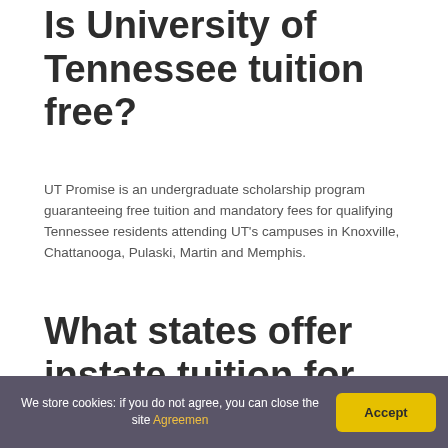Is University of Tennessee tuition free?
UT Promise is an undergraduate scholarship program guaranteeing free tuition and mandatory fees for qualifying Tennessee residents attending UT's campuses in Knoxville, Chattanooga, Pulaski, Martin and Memphis.
What states offer instate tuition for
We store cookies: if you do not agree, you can close the site Agreemen  Accept